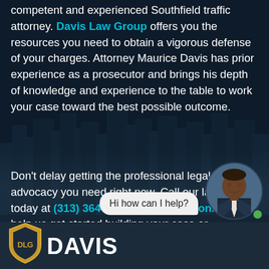competent and experienced Southfield traffic attorney. Davis Law Group offers you the resources you need to obtain a vigorous defense of your charges. Attorney Maurice Davis has prior experience as a prosecutor and brings his depth of knowledge and experience to the table to work your case toward the best possible outcome.
Don't delay getting the professional legal advocacy you need right now. Call our law firm today at (313) 364-1842, or reach out online to help us get started building your case or negotiating for the best options you have available.
[Figure (screenshot): Chat bubble saying 'Hi how can I help?' with a circular avatar photo of a man in a suit and a green online indicator dot]
[Figure (logo): Davis Law Group logo with gold shield icon containing 'DLG' monogram and white text 'DAVIS' in bold]